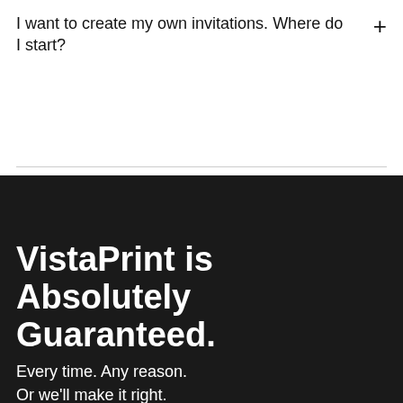I want to create my own invitations. Where do I start?
VistaPrint is Absolutely Guaranteed.
Every time. Any reason. Or we'll make it right.